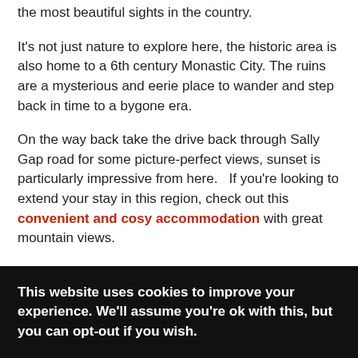the most beautiful sights in the country.
It’s not just nature to explore here, the historic area is also home to a 6th century Monastic City. The ruins are a mysterious and eerie place to wander and step back in time to a bygone era.
On the way back take the drive back through Sally Gap road for some picture-perfect views, sunset is particularly impressive from here.   If you’re looking to extend your stay in this region, check out this convenient and cosy accommodation with great mountain views.
This website uses cookies to improve your experience. We’ll assume you’re ok with this, but you can opt-out if you wish.